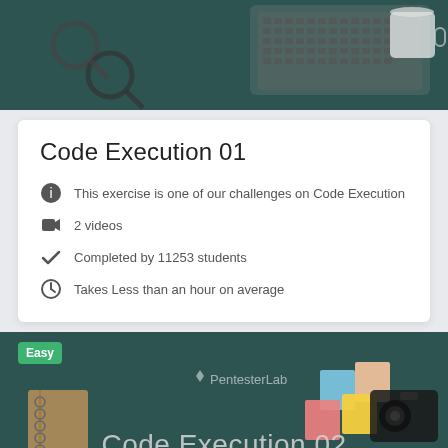[Figure (photo): Dark teal desk background with laptop keyboard, keys, magnifying glasses, and a coffee cup visible from above]
Code Execution 01
This exercise is one of our challenges on Code Execution
2 videos
Completed by 11253 students
Takes Less than an hour on average
[Figure (photo): Dark teal desk background with sticky notes, notebook, colorful pins, camera, laptop, and PentesterLab logo. Easy badge shown. Title: Code Execution 02]